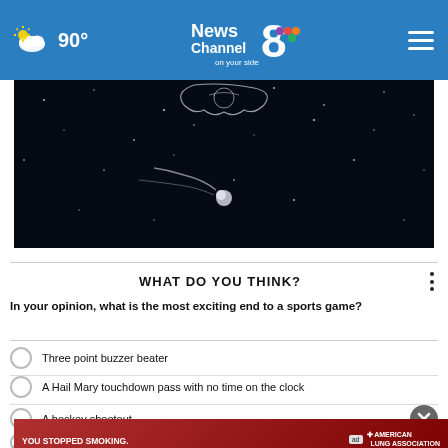News Channel 8 on your side — 90°
[Figure (photo): Dark space scene with a comet/meteor and stars on a dark navy background with faint line art]
WHAT DO YOU THINK?
In your opinion, what is the most exciting end to a sports game?
Three point buzzer beater
A Hail Mary touchdown pass with no time on the clock
A hockey shootout
A...
O...
[Figure (advertisement): Red ad banner: YOU STOPPED SMOKING. NOW STOP LUNG CANCER. American Lung Association. Get SAVEDBYITBESCAN.ORG]